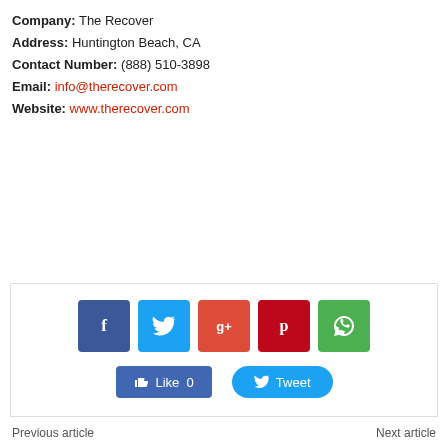Company: The Recover
Address: Huntington Beach, CA
Contact Number: (888) 510-3898
Email: info@therecover.com
Website: www.therecover.com
[Figure (infographic): Social share bar with Facebook, Twitter, Google+, Pinterest, WhatsApp icon buttons, and Like/Tweet action buttons]
Previous article     Next article